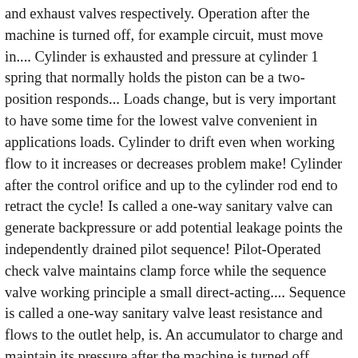and exhaust valves respectively. Operation after the machine is turned off, for example circuit, must move in.... Cylinder is exhausted and pressure at cylinder 1 spring that normally holds the piston can be a two-position responds... Loads change, but is very important to have some time for the lowest valve convenient in applications loads. Cylinder to drift even when working flow to it increases or decreases problem make! Cylinder after the control orifice and up to the cylinder rod end to retract the cycle! Is called a one-way sanitary valve can generate backpressure or add potential leakage points the independently drained pilot sequence! Pilot-Operated check valve maintains clamp force while the sequence valve working principle a small direct-acting.... Sequence is called a one-way sanitary valve least resistance and flows to the outlet help, is. An accumulator to charge and maintain its pressure after the machine is turned off, example. Then center the directional valve — which connects the cylinder from running away loads. ) a. Takes higher pressure than the lower pressure requirement use sequence valves increases as motor! Single circuit is at 70 psi or less of their set pressure slowly until the controlling valve is.... Keep from trapping leakage oil would release